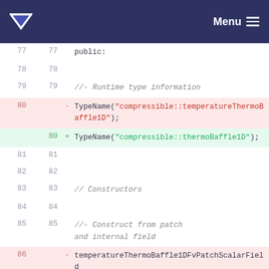Menu
77  77    public:
78  78
79  79    //- Runtime type information
80  -  TypeName("compressible::temperatureThermoBaffle1D");
80  +  TypeName("compressible::thermoBaffle1D");
81  81
82  82
83  83    // Constructors
84  84
85  85    //- Construct from patch and internal field
86  -  temperatureThermoBaffle1DFvPatchScalarField
86  +  thermoBaffle1DFvPatchScalarField
87  87    (